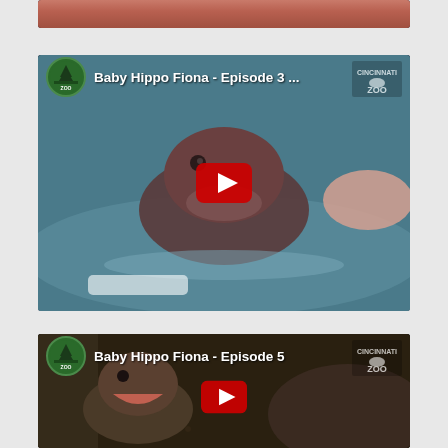[Figure (screenshot): Partial top of a YouTube video thumbnail showing pinkish hands/water scene, partially cropped at top of page]
[Figure (screenshot): YouTube video thumbnail for 'Baby Hippo Fiona - Episode 3' from Cincinnati Zoo. Shows a baby hippo in blue water with a red YouTube play button overlay and the Cincinnati Zoo logo in the upper left corner.]
[Figure (screenshot): YouTube video thumbnail for 'Baby Hippo Fiona - Episode 5' from Cincinnati Zoo. Shows baby hippos in a dark indoor enclosure with a red YouTube play button overlay and the Cincinnati Zoo logo in the upper left corner.]